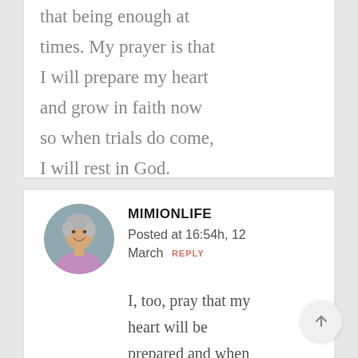that being enough at times. My prayer is that I will prepare my heart and grow in faith now so when trials do come, I will rest in God.
MIMIONLIFE
Posted at 16:54h, 12 March  REPLY
[Figure (photo): Circular avatar photo of a smiling older woman with short gray hair wearing a light purple top, against a gray-blue background.]
I, too, pray that my heart will be prepared and when